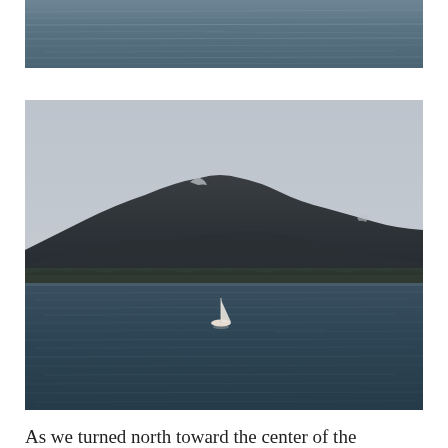[Figure (photo): Partial photo at top of page showing calm rippled water surface with a dark blue-grey tone, cropped at top.]
[Figure (photo): Photo of a calm bay or fjord with dark mountains in the background under an overcast grey sky. A small white sailboat is visible in the center of the water. The water is dark teal with gentle ripples.]
As we turned north toward the center of the lower section of the bay, our first destination...